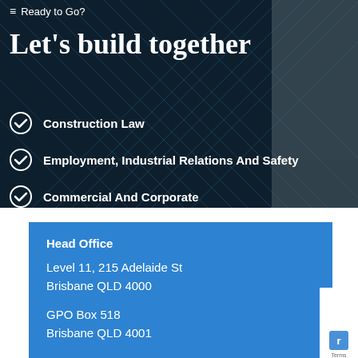≡ Ready to Go?
Let's build together
Construction Law
Employment, Industrial Relations And Safety
Commercial And Corporate
Head Office
Level 11, 215 Adelaide St
Brisbane QLD 4000

GPO Box 518
Brisbane QLD 4001